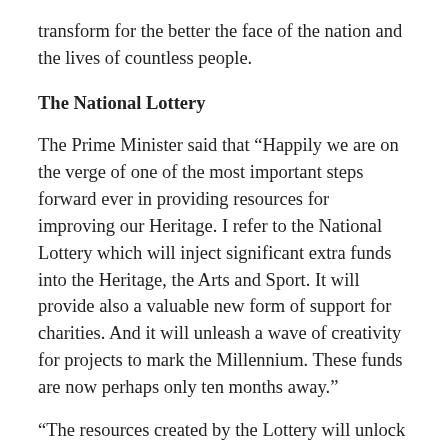transform for the better the face of the nation and the lives of countless people.
The National Lottery
The Prime Minister said that “Happily we are on the verge of one of the most important steps forward ever in providing resources for improving our Heritage. I refer to the National Lottery which will inject significant extra funds into the Heritage, the Arts and Sport. It will provide also a valuable new form of support for charities. And it will unleash a wave of creativity for projects to mark the Millennium. These funds are now perhaps only ten months away.”
“The resources created by the Lottery will unlock the door to a higher quality of life for millions of people, irrespective of income and without extra